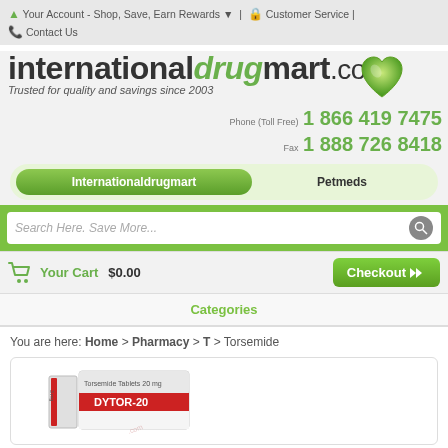Your Account - Shop, Save, Earn Rewards | Customer Service | Contact Us
[Figure (logo): internationaldrogmart.com logo with green heart icon and tagline 'Trusted for quality and savings since 2003']
Phone (Toll Free) 1 866 419 7475
Fax 1 888 726 8418
Internationaldrugmart | Petmeds (tab navigation)
Search Here. Save More...
Your Cart $0.00  Checkout
Categories
You are here: Home > Pharmacy > T > Torsemide
[Figure (photo): Product image of Dytor-20 Torsemide Tablets 20mg packaging]